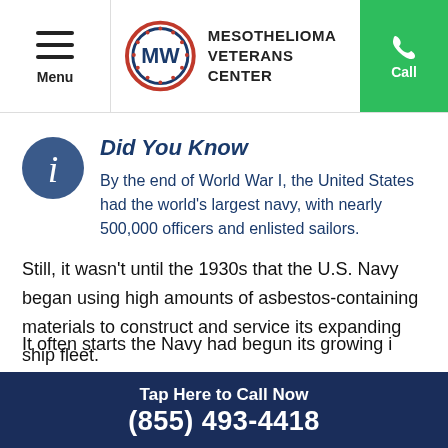Menu | MESOTHELIOMA VETERANS CENTER | Call
Did You Know
By the end of World War I, the United States had the world’s largest navy, with nearly 500,000 officers and enlisted sailors.
Still, it wasn’t until the 1930s that the U.S. Navy began using high amounts of asbestos-containing materials to construct and service its expanding ship fleet.
Tap Here to Call Now (855) 493-4418